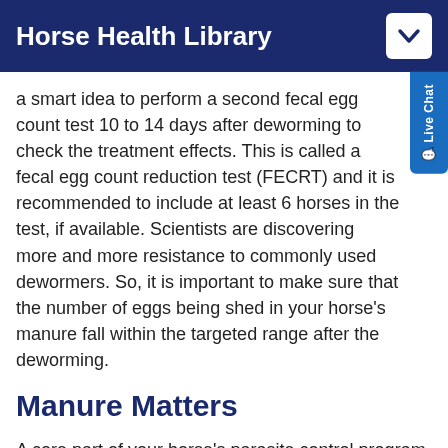Horse Health Library
a smart idea to perform a second fecal egg count test 10 to 14 days after deworming to check the treatment effects. This is called a fecal egg count reduction test (FECRT) and it is recommended to include at least 6 horses in the test, if available. Scientists are discovering more and more resistance to commonly used dewormers. So, it is important to make sure that the number of eggs being shed in your horse's manure fall within the targeted range after the deworming.
Manure Matters
A core part of your horse's parasite control program is the amount of manure in his environment. Many parasites begin their lives in a manure pile, so strong management practices can significantly reduce the chances of extending their lifespans.